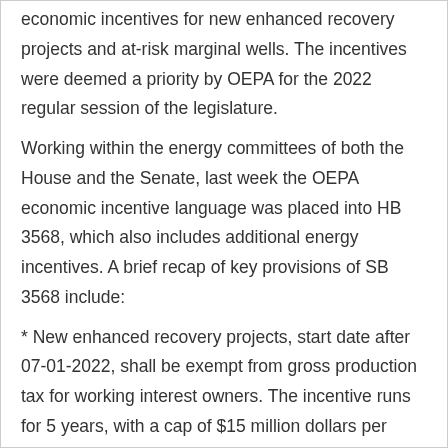economic incentives for new enhanced recovery projects and at-risk marginal wells. The incentives were deemed a priority by OEPA for the 2022 regular session of the legislature.
Working within the energy committees of both the House and the Senate, last week the OEPA economic incentive language was placed into HB 3568, which also includes additional energy incentives. A brief recap of key provisions of SB 3568 include:
* New enhanced recovery projects, start date after 07-01-2022, shall be exempt from gross production tax for working interest owners. The incentive runs for 5 years, with a cap of $15 million dollars per year. No entity may claim more than 20% of the GPT exemption. OEPA was adamant for the 20% limit so that no large company could claim the majority of the total incentive.